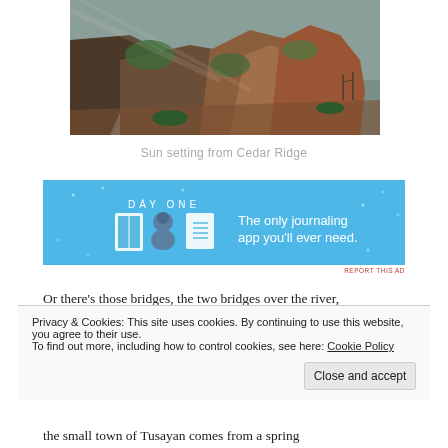[Figure (photo): Photo of canyon cliffs with reddish rock formations, green vegetation, and misty valley below — sun setting from Cedar Ridge]
Sun setting from Cedar Ridge
[Figure (other): Advertisement for Day One journaling app on blue background with icons and text: 'DAY ONE — The only journaling app you'll ever need.']
Or there's those bridges, the two bridges over the river,
Privacy & Cookies: This site uses cookies. By continuing to use this website, you agree to their use.
To find out more, including how to control cookies, see here: Cookie Policy
the small town of Tusayan comes from a spring